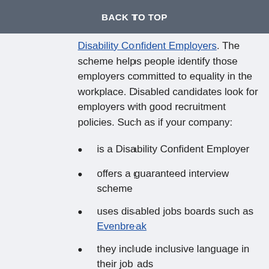BACK TO TOP
Disability Confident Employers. The scheme helps people identify those employers committed to equality in the workplace. Disabled candidates look for employers with good recruitment policies. Such as if your company:
is a Disability Confident Employer
offers a guaranteed interview scheme
uses disabled jobs boards such as Evenbreak
they include inclusive language in their job ads
If you are already doing all of the above then make sure this is obvious